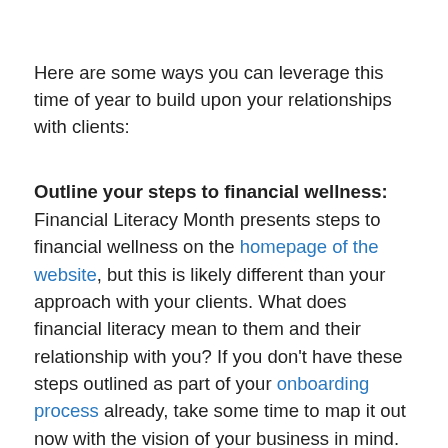Here are some ways you can leverage this time of year to build upon your relationships with clients:
Outline your steps to financial wellness: Financial Literacy Month presents steps to financial wellness on the homepage of the website, but this is likely different than your approach with your clients. What does financial literacy mean to them and their relationship with you? If you don't have these steps outlined as part of your onboarding process already, take some time to map it out now with the vision of your business in mind. Understand how these steps relate to your clients' situations based on their personal financial goals and stage of life. Then allow it to become a constant